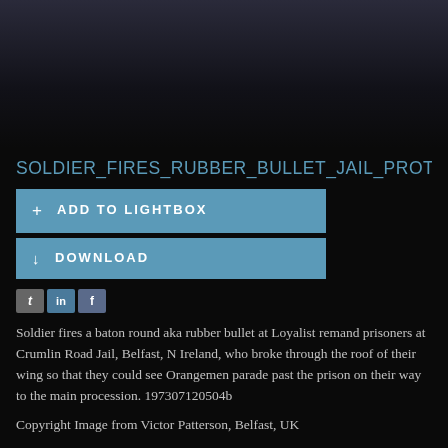[Figure (photo): Dark photograph of a building/prison exterior, heavily shadowed]
SOLDIER_FIRES_RUBBER_BULLET_JAIL_PROTES
+ ADD TO LIGHTBOX
↓ DOWNLOAD
[Figure (infographic): Social media icons: t (Twitter), in (LinkedIn), f (Facebook)]
Soldier fires a baton round aka rubber bullet at Loyalist remand prisoners at Crumlin Road Jail, Belfast, N Ireland, who broke through the roof of their wing so that they could see Orangemen parade past the prison on their way to the main procession. 197307120504b
Copyright Image from Victor Patterson, Belfast, UK
t: +44 28 9066 1296 (from Rep of Ireland 048 9066 1296)
m: +44 7802 353836